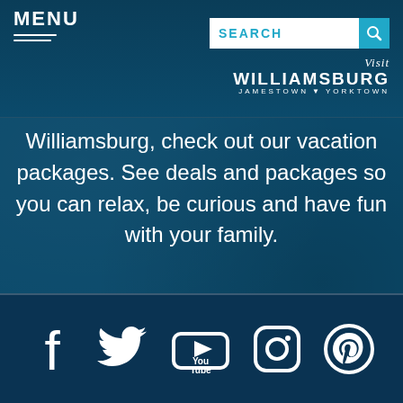MENU
Williamsburg, check out our vacation packages. See deals and packages so you can relax, be curious and have fun with your family.
FIND VACATION PACKAGES
[Figure (screenshot): Social media icons row: Facebook, Twitter, YouTube, Instagram, Pinterest on dark blue background]